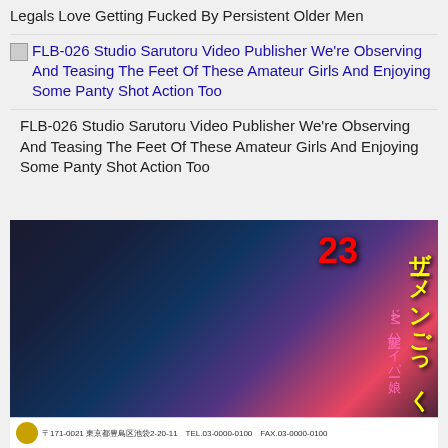Legals Love Getting Fucked By Persistent Older Men
FLB-026 Studio Sarutoru Video Publisher We're Observing And Teasing The Feet Of These Amateur Girls And Enjoying Some Panty Shot Action Too
FLB-026 Studio Sarutoru Video Publisher We're Observing And Teasing The Feet Of These Amateur Girls And Enjoying Some Panty Shot Action Too
[Figure (photo): Japanese adult video DVD cover with collage of images and Japanese text including ザーメンごっくん専用 ドM変態ハイパー娘 and the number 23]